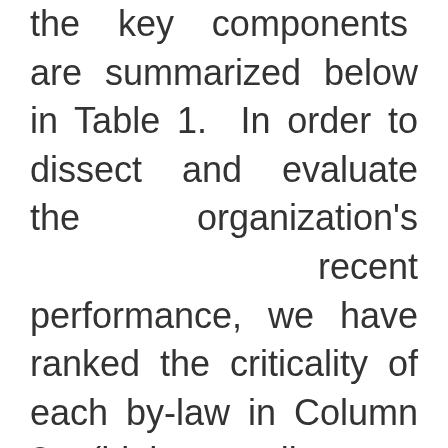the key components are summarized below in Table 1. In order to dissect and evaluate the organization's recent performance, we have ranked the criticality of each by-law in Column 3 (high, medium or low). In addition, our subjective estimate of the current performance or compliance status for each item is summarized in Column 4, and by color (according to the key at the bottom of the Table).
As emphasized by the green areas within the Table, the CPA